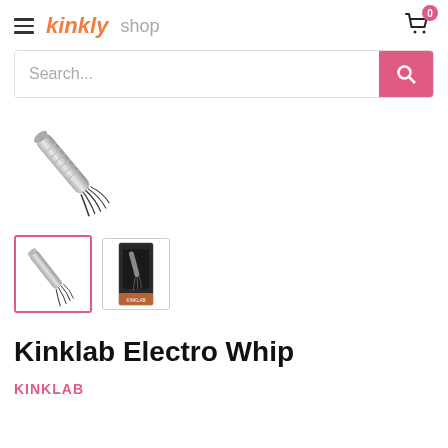kinkly shop
Search...
[Figure (photo): Main product image of Kinklab Electro Whip, a metallic whip-like device shown diagonally on white background]
[Figure (photo): Thumbnail 1 (selected, pink border): Kinklab Electro Whip product image - whip shape]
[Figure (photo): Thumbnail 2: Kinklab Electro Whip in packaging box]
Kinklab Electro Whip
KINKLAB